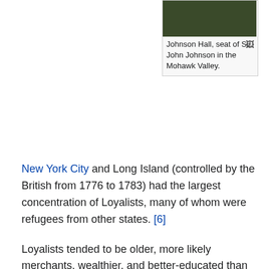[Figure (photo): Photograph of Johnson Hall, a historic building surrounded by trees]
Johnson Hall, seat of Sir John Johnson in the Mohawk Valley.
New York City and Long Island (controlled by the British from 1776 to 1783) had the largest concentration of Loyalists, many of whom were refugees from other states. [6]
Loyalists tended to be older, more likely merchants, wealthier, and better-educated than their Patriot opponents, but there were also many Loyalists of humble means. Many active Anglicans remained loyal to George III of Great Britain|King George III]]. Some recent emigrants, especially Scots, shared Loyalist views. Loyalists in the South, however, were suppressed by the local Patriots who controlled local and state government. Many people—such as some of the ex-Regulators in North Carolina—